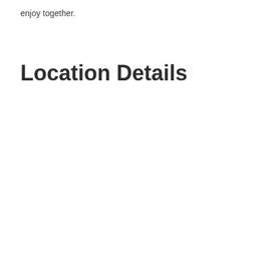enjoy together.
Location Details